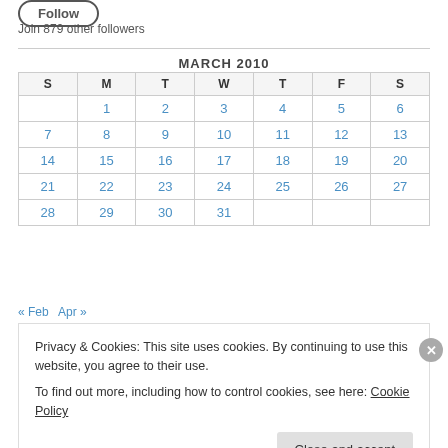Join 879 other followers
| S | M | T | W | T | F | S |
| --- | --- | --- | --- | --- | --- | --- |
|  | 1 | 2 | 3 | 4 | 5 | 6 |
| 7 | 8 | 9 | 10 | 11 | 12 | 13 |
| 14 | 15 | 16 | 17 | 18 | 19 | 20 |
| 21 | 22 | 23 | 24 | 25 | 26 | 27 |
| 28 | 29 | 30 | 31 |  |  |  |
« Feb   Apr »
Privacy & Cookies: This site uses cookies. By continuing to use this website, you agree to their use. To find out more, including how to control cookies, see here: Cookie Policy